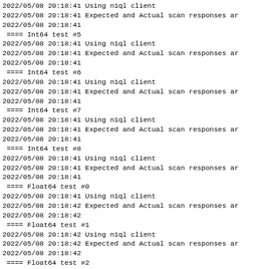2022/05/08 20:18:41 Using n1ql client
2022/05/08 20:18:41 Expected and Actual scan responses ar
2022/05/08 20:18:41
 ==== Int64 test #5
2022/05/08 20:18:41 Using n1ql client
2022/05/08 20:18:41 Expected and Actual scan responses ar
2022/05/08 20:18:41
 ==== Int64 test #6
2022/05/08 20:18:41 Using n1ql client
2022/05/08 20:18:41 Expected and Actual scan responses ar
2022/05/08 20:18:41
 ==== Int64 test #7
2022/05/08 20:18:41 Using n1ql client
2022/05/08 20:18:41 Expected and Actual scan responses ar
2022/05/08 20:18:41
 ==== Int64 test #8
2022/05/08 20:18:41 Using n1ql client
2022/05/08 20:18:41 Expected and Actual scan responses ar
2022/05/08 20:18:41
 ==== Float64 test #0
2022/05/08 20:18:41 Using n1ql client
2022/05/08 20:18:42 Expected and Actual scan responses ar
2022/05/08 20:18:42
 ==== Float64 test #1
2022/05/08 20:18:42 Using n1ql client
2022/05/08 20:18:42 Expected and Actual scan responses ar
2022/05/08 20:18:42
 ==== Float64 test #2
2022/05/08 20:18:42 Using n1ql client
2022/05/08 20:18:42 Expected and Actual scan responses ar
2022/05/08 20:18:42